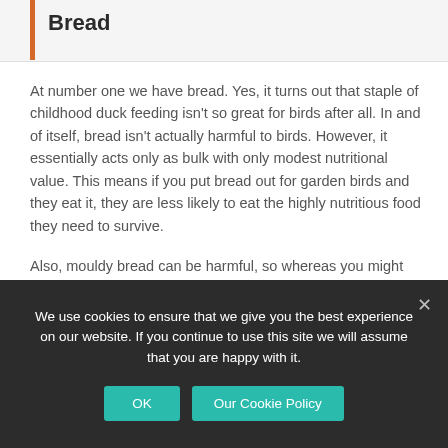Bread
At number one we have bread. Yes, it turns out that staple of childhood duck feeding isn't so great for birds after all. In and of itself, bread isn't actually harmful to birds. However, it essentially acts only as bulk with only modest nutritional value. This means if you put bread out for garden birds and they eat it, they are less likely to eat the highly nutritious food they need to survive.
Also, mouldy bread can be harmful, so whereas you might think a good way of using up stale bread is to feed it to birds rather than throw it away, you could do more harm than good. In short, it's best to avoid feeding bread at all, but if you do, restrict it just to a few crumbs.
We use cookies to ensure that we give you the best experience on our website. If you continue to use this site we will assume that you are happy with it.